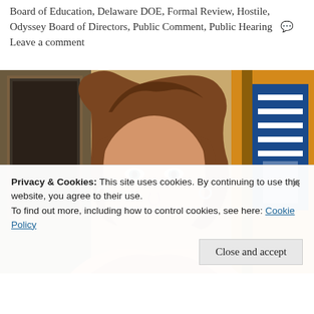Board of Education, Delaware DOE, Formal Review, Hostile, Odyssey Board of Directors, Public Comment, Public Hearing  Leave a comment
[Figure (photo): Woman with brown hair smiling, standing in front of a framed painting and an orange/yellow flag, indoors]
Privacy & Cookies: This site uses cookies. By continuing to use this website, you agree to their use.
To find out more, including how to control cookies, see here: Cookie Policy
Close and accept